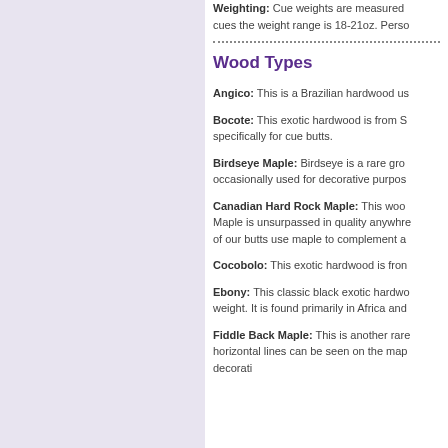Weighting: Cue weights are measured cues the weight range is 18-21oz. Perso
Wood Types
Angico: This is a Brazilian hardwood us
Bocote: This exotic hardwood is from S specifically for cue butts.
Birdseye Maple: Birdseye is a rare gro occasionally used for decorative purpos
Canadian Hard Rock Maple: This woo Maple is unsurpassed in quality anywhre of our butts use maple to complement a
Cocobolo: This exotic hardwood is fron
Ebony: This classic black exotic hardwo weight. It is found primarily in Africa and
Fiddle Back Maple: This is another rare horizontal lines can be seen on the map decorati